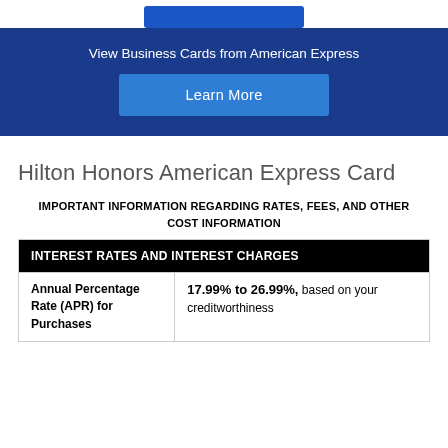[Figure (other): Blue button at top of page (partially visible)]
View Business Cards from American Express
Learn More
Hilton Honors American Express Card
IMPORTANT INFORMATION REGARDING RATES, FEES, AND OTHER COST INFORMATION
| INTEREST RATES AND INTEREST CHARGES |  |
| --- | --- |
| Annual Percentage Rate (APR) for Purchases | 17.99% to 26.99%, based on your creditworthiness |